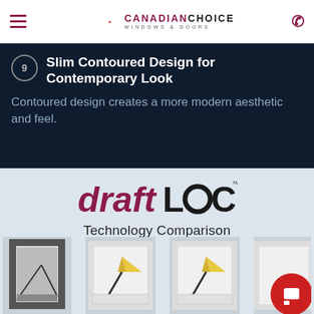Canadian Choice Windows & Doors
9 - Slim Contoured Design for Contemporary Look
Contoured design creates a more modern aesthetic and feel.
[Figure (logo): draftLOCK logo in dark red with trademark symbol]
Technology Comparison
[Figure (photo): Four window cross-section photos showing DraftLOCK technology comparison with yellow seals visible]
Book a FREE Consultation
Get a FREE Quote